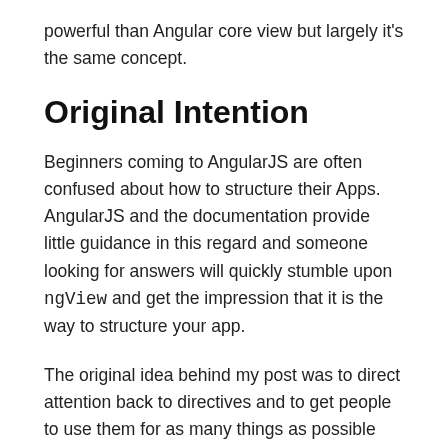powerful than Angular core view but largely it's the same concept.
Original Intention
Beginners coming to AngularJS are often confused about how to structure their Apps. AngularJS and the documentation provide little guidance in this regard and someone looking for answers will quickly stumble upon ngView and get the impression that it is the way to structure your app.
The original idea behind my post was to direct attention back to directives and to get people to use them for as many things as possible because in a lot of the